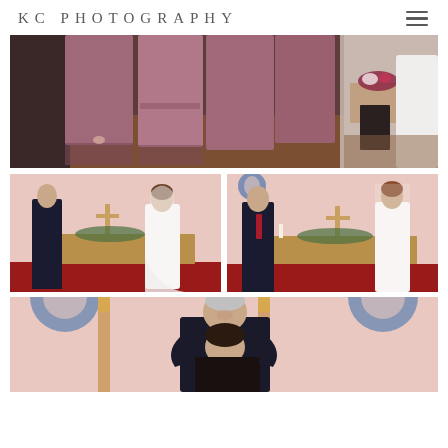KC PHOTOGRAPHY
[Figure (photo): Wide photo showing bridesmaids in dusty rose/mauve long dresses standing in a church, and on the right side a bride in a white dress near a table with floral arrangement]
[Figure (photo): Two side-by-side photos in a church with pink walls: left shows a man in a dark suit and a bride in a white dress bowing her head near an altar; right shows the same man turning toward the bride who stands straight in her white dress and veil]
[Figure (photo): Partial/cropped bottom photo in pink-walled church showing an older man hugging and smiling with a woman, both in dark clothing, church decor visible in background]